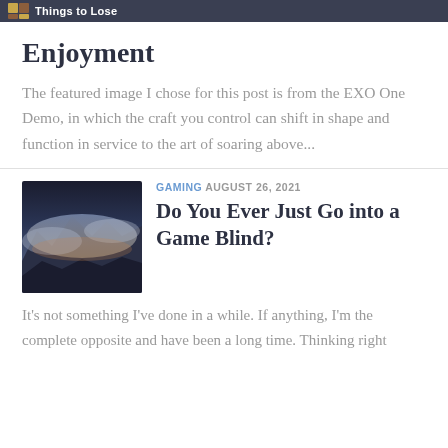Things to Lose
Enjoyment
The featured image I chose for this post is from the EXO One Demo, in which the craft you control can shift in shape and function in service to the art of soaring above...
[Figure (photo): Thumbnail image showing a dark atmospheric landscape with clouds and mountains]
GAMING AUGUST 26, 2021
Do You Ever Just Go into a Game Blind?
It's not something I've done in a while. If anything, I'm the complete opposite and have been a long time. Thinking right